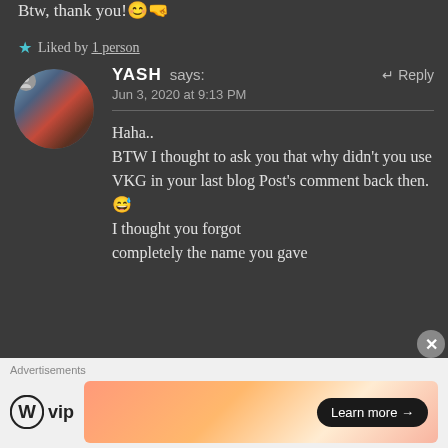Btw, thank you!😊🤜
★ Liked by 1 person
YASH says:
Jun 3, 2020 at 9:13 PM

Haha..
BTW I thought to ask you that why didn't you use VKG in your last blog Post's comment back then. 😅
I thought you forgot completely the name you gave
[Figure (screenshot): WordPress VIP advertisement banner with Learn more button]
Advertisements